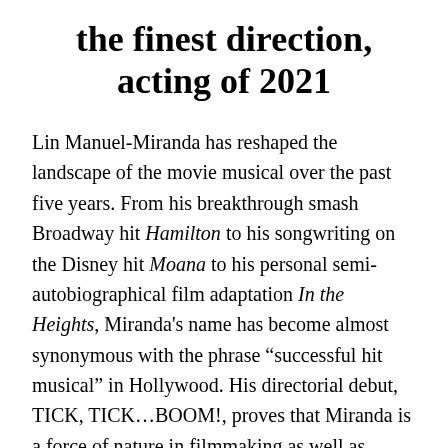the finest direction, acting of 2021
Lin Manuel-Miranda has reshaped the landscape of the movie musical over the past five years. From his breakthrough smash Broadway hit Hamilton to his songwriting on the Disney hit Moana to his personal semi-autobiographical film adaptation In the Heights, Miranda's name has become almost synonymous with the phrase “successful hit musical” in Hollywood. His directorial debut, TICK, TICK…BOOM!, proves that Miranda is a force of nature in filmmaking as well as theater and songwriting. Not only is this one of the most